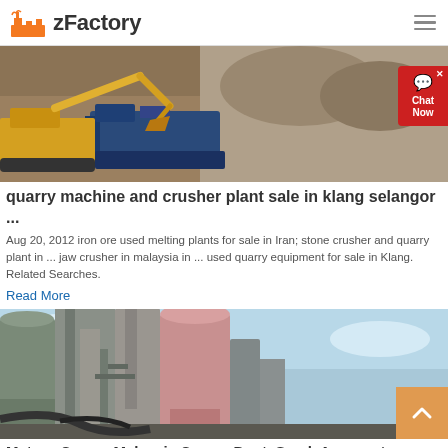zFactory
[Figure (photo): Excavator and crusher plant at a quarry site, yellow excavator loading material into a blue crushing machine]
quarry machine and crusher plant sale in klang selangor ...
Aug 20, 2012 iron ore used melting plants for sale in Iran; stone crusher and quarry plant in ... jaw crusher in malaysia in ... used quarry equipment for sale in Klang. Related Searches.
Read More
[Figure (photo): Industrial quarry processing plant with silos, pipes and machinery shot from below against sky]
Matron Quarry Malaysia Quarry Dust, Sand, Aggregate